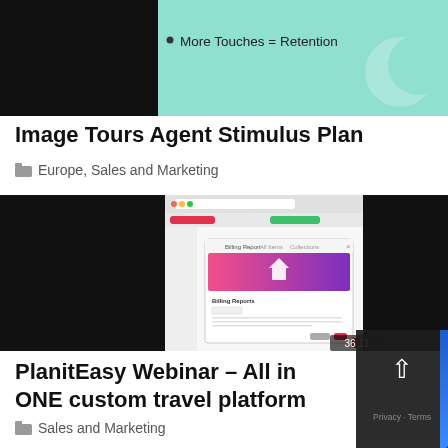[Figure (screenshot): Video thumbnail showing a mint/teal slide with gear icons and text 'More Touches = Retention', duration badge 21:02]
Image Tours Agent Stimulus Plan
Europe, Sales and Marketing
[Figure (screenshot): Video thumbnail showing a browser screenshot of PlanitEasy platform with a modal dialog open, pink/purple gradient banner with a house/diamond ring icon, duration badge 36:11]
PlanitEasy Webinar – All in ONE custom travel platform
Sales and Marketing